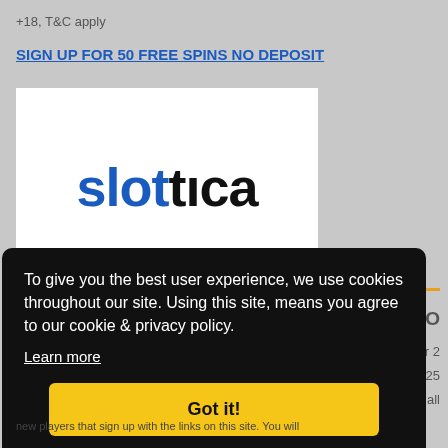+18, T&C apply
SIGN UP FOR 50 FREE SPINS NO DEPOSIT
[Figure (logo): Slottica casino logo — word 'slot' in blue and 'tica' in black, bold sans-serif font on white background]
To give you the best user experience, we use cookies throughout our site. Using this site, means you agree to our cookie & privacy policy.
Learn more
Got it!
S NO
r 2
25
e for all
new players that sign up with the links on this site. You will